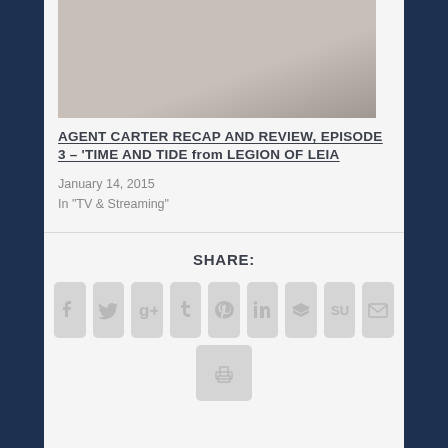[Figure (photo): A woman in a light-colored blouse with arms crossed, upper body visible, slightly blurred background]
AGENT CARTER RECAP AND REVIEW, EPISODE 3 – 'TIME AND TIDE from LEGION OF LEIA
January 14, 2015
In "TV & Streaming"
SHARE:
[Figure (infographic): Row of social share icon buttons: Facebook, Twitter, Google+, Tumblr, Pinterest, LinkedIn, Buffer, StumbleUpon, Email. Second row: Print button.]